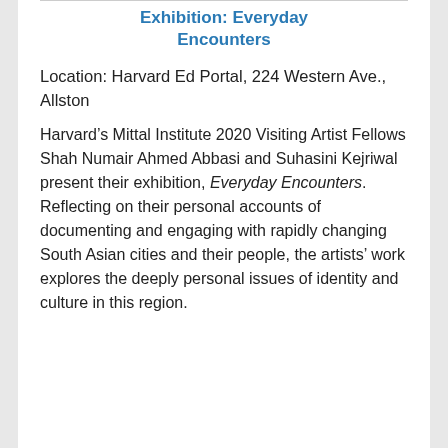Exhibition: Everyday Encounters
Location: Harvard Ed Portal, 224 Western Ave., Allston
Harvard’s Mittal Institute 2020 Visiting Artist Fellows Shah Numair Ahmed Abbasi and Suhasini Kejriwal present their exhibition, Everyday Encounters. Reflecting on their personal accounts of documenting and engaging with rapidly changing South Asian cities and their people, the artists’ work explores the deeply personal issues of identity and culture in this region.